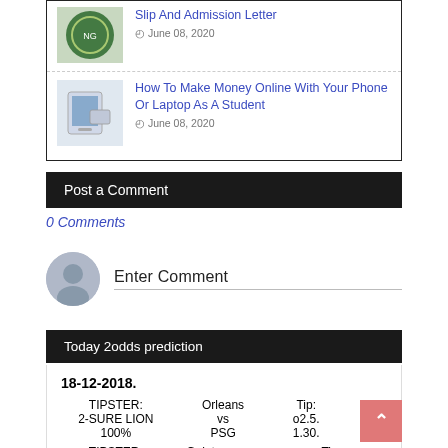[Figure (screenshot): Related post with thumbnail: logo image and article title about admission slip]
Slip And Admission Letter  June 08, 2020
How To Make Money Online With Your Phone Or Laptop As A Student  June 08, 2020
Post a Comment
0 Comments
Enter Comment
Today 2odds prediction
| TIPSTER | Match | Tip |
| --- | --- | --- |
| TIPSTER: 2-SURE LION 100% | Orleans vs PSG | Tip: o2.5. 1.30. |
| TIPSTER: | Galatasaray... | Tip: |